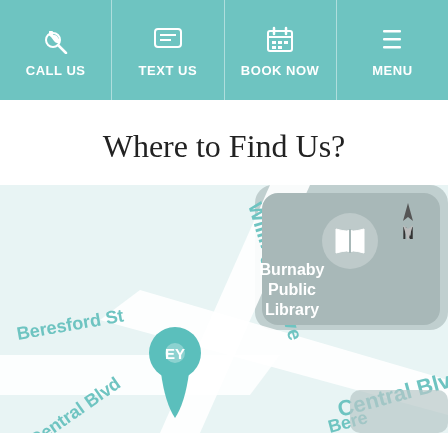CALL US | TEXT US | BOOK NOW | MENU
Where to Find Us?
[Figure (map): Street map showing Willingdon Ave, Central Blvd, Beresford St intersections near Burnaby Public Library, with a teal location pin labeled EY at bottom center]